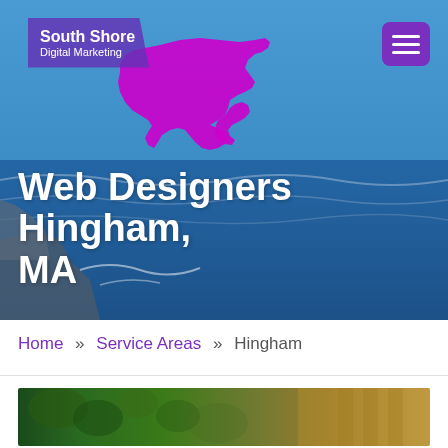[Figure (screenshot): South Shore Digital Marketing website header with ocean/beach background photo, company logo with Massachusetts state silhouette in magenta, hamburger menu button in purple, and large white bold title text 'Web Designers Hingham, MA']
Web Designers Hingham, MA
Home » Service Areas » Hingham
[Figure (photo): Partial bottom strip showing outdoor photo with green foliage and warm tones]